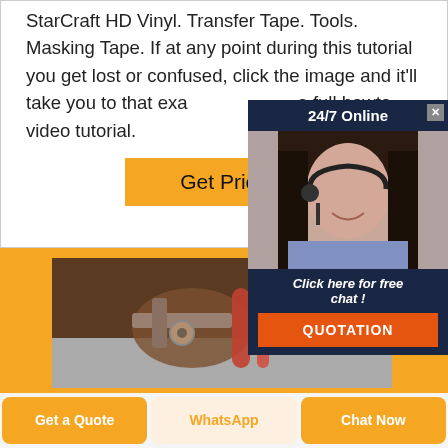StarCraft HD Vinyl. Transfer Tape. Tools. Masking Tape. If at any point during this tutorial you get lost or confused, click the image and it'll take you to that exact listing with a full howto video tutorial.
Get Price
[Figure (screenshot): Popup advertisement overlay showing a customer service representative with headset, dark navy background, '24/7 Online' header with close button, 'Click here for free chat!' text, and orange 'QUOTATION' button]
[Figure (photo): Close-up photo of metal hardware components including wire or cable connectors against a light background, inside an orange-bordered frame]
Get a Quote
WhatsApp
Chat Now